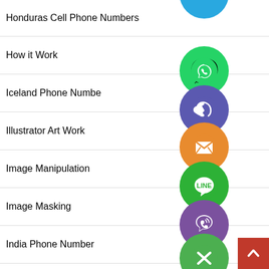Honduras Cell Phone Numbers
How it Work
Iceland Phone Numbers
Illustrator Art Work
Image Manipulation
Image Masking
India Phone Number
Indonesia Mobile Numbers
Iran Phone Number
[Figure (illustration): Column of social media app icons (WhatsApp green, phone blue/purple, email orange, LINE green, Viber purple, close green) overlaid on the list, plus a partial blue icon at top. Red back-to-top arrow button at bottom right.]